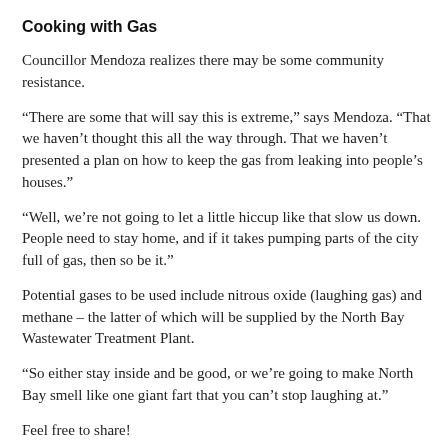Cooking with Gas
Councillor Mendoza realizes there may be some community resistance.
“There are some that will say this is extreme,” says Mendoza. “That we haven’t thought this all the way through. That we haven’t presented a plan on how to keep the gas from leaking into people’s houses.”
“Well, we’re not going to let a little hiccup like that slow us down. People need to stay home, and if it takes pumping parts of the city full of gas, then so be it.”
Potential gases to be used include nitrous oxide (laughing gas) and methane – the latter of which will be supplied by the North Bay Wastewater Treatment Plant.
“So either stay inside and be good, or we’re going to make North Bay smell like one giant fart that you can’t stop laughing at.”
Feel free to share!